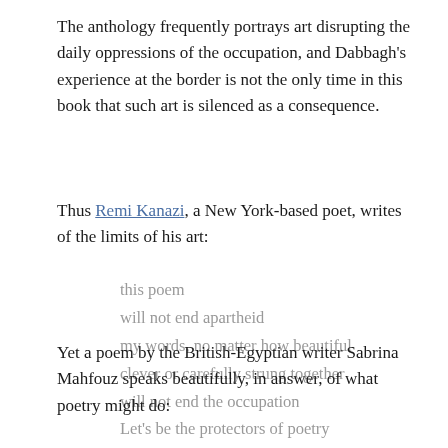The anthology frequently portrays art disrupting the daily oppressions of the occupation, and Dabbagh's experience at the border is not the only time in this book that such art is silenced as a consequence.
Thus Remi Kanazi, a New York-based poet, writes of the limits of his art:
this poem
will not end apartheid
my words, no matter how beautiful
clever or carefully strung together
will not end the occupation
Yet a poem by the British-Egyptian writer Sabrina Mahfouz speaks beautifully, in answer, of what poetry might do:
Let's be the protectors of poetry
let's pull bricks down